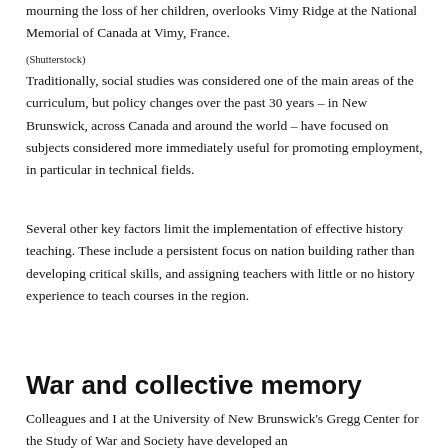mourning the loss of her children, overlooks Vimy Ridge at the National Memorial of Canada at Vimy, France.
(Shutterstock)
Traditionally, social studies was considered one of the main areas of the curriculum, but policy changes over the past 30 years – in New Brunswick, across Canada and around the world – have focused on subjects considered more immediately useful for promoting employment, in particular in technical fields.
Several other key factors limit the implementation of effective history teaching. These include a persistent focus on nation building rather than developing critical skills, and assigning teachers with little or no history experience to teach courses in the region.
War and collective memory
Colleagues and I at the University of New Brunswick's Gregg Center for the Study of War and Society have developed an